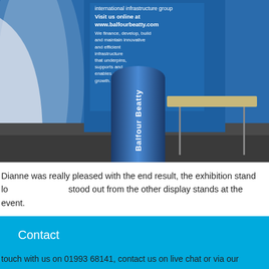[Figure (photo): Exhibition stand for Balfour Beatty showing blue branded banner with text 'international infrastructure group', 'Visit us online at www.balfourbeatty.com', 'We finance, develop, build and maintain innovative and efficient infrastructure that underpins, supports and enables economic growth'. A cylindrical kiosk branded 'Balfour Beatty' stands in the foreground. A grey bin is to the left, a display table with brochures is to the right. Circular images of workers on the banner.]
Dianne was really pleased with the end result, the exhibition stand looked great and stood out from the other display stands at the event.
You can find out more information about Balfour Beatty by visiting...
Contact
If you would like to discuss your requirements
touch with us on 01993 68141, contact us on live chat or via our...